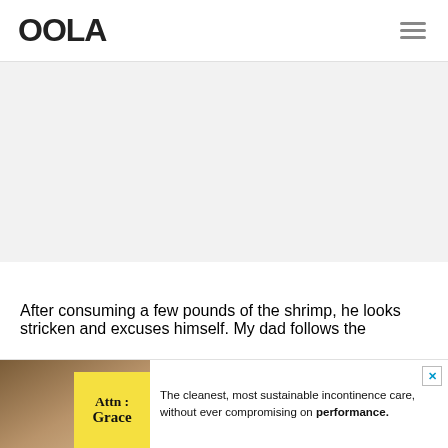OOLA
[Figure (other): Gray placeholder advertisement area]
After consuming a few pounds of the shrimp, he looks stricken and excuses himself. My dad follows the
[Figure (other): Bottom advertisement banner for 'Attn: Grace' incontinence care product. Text reads: The cleanest, most sustainable incontinence care, without ever compromising on performance.]